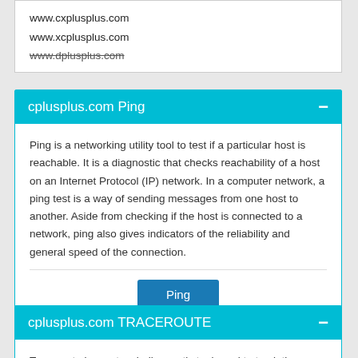www.cxplusplus.com
www.xcplusplus.com
www.dplusplus.com
cplusplus.com Ping
Ping is a networking utility tool to test if a particular host is reachable. It is a diagnostic that checks reachability of a host on an Internet Protocol (IP) network. In a computer network, a ping test is a way of sending messages from one host to another. Aside from checking if the host is connected to a network, ping also gives indicators of the reliability and general speed of the connection.
cplusplus.com TRACEROUTE
Traceroute is a network diagnostic tool used to track the pathway